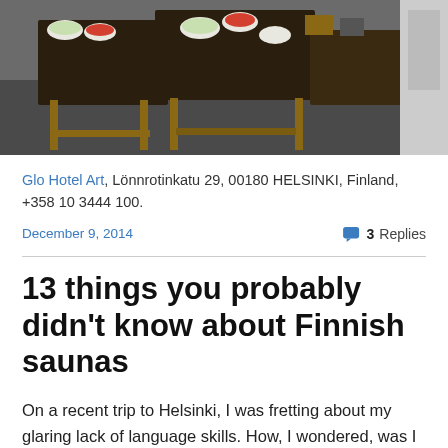[Figure (photo): Photo of a wooden table with food bowls and serving dishes in what appears to be a hotel breakfast area or restaurant interior.]
Glo Hotel Art, Lönnrotinkatu 29, 00180 HELSINKI, Finland, +358 10 3444 100.
December 9, 2014    3 Replies
13 things you probably didn't know about Finnish saunas
On a recent trip to Helsinki, I was fretting about my glaring lack of language skills. How, I wondered, was I ever going to pronounce all those really long words with so many